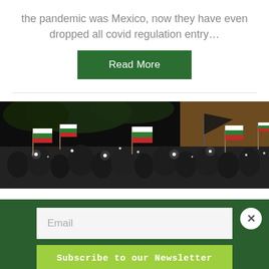the pandemic was Mexico, now they have even dropped all covid regulation entry…
Read More
[Figure (photo): Nighttime crowd protest scene with people holding Bulgarian flags, bright phone lights visible in the crowd, buildings in background]
Email
Subscribe to our Newsletter